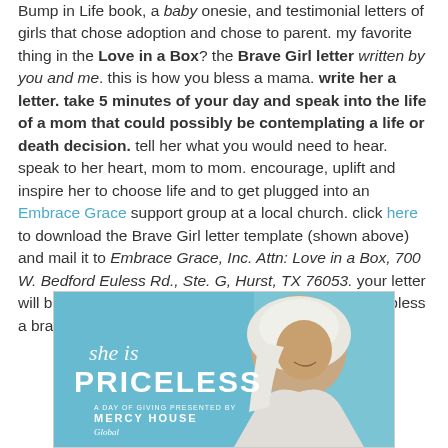Bump in Life book, a baby onesie, and testimonial letters of girls that chose adoption and chose to parent. my favorite thing in the Love in a Box? the Brave Girl letter written by you and me. this is how you bless a mama. write her a letter. take 5 minutes of your day and speak into the life of a mom that could possibly be contemplating a life or death decision. tell her what you would need to hear. speak to her heart, mom to mom. encourage, uplift and inspire her to choose life and to get plugged into an Embrace Grace support group at a local church. click here to download the Brave Girl letter template (shown above) and mail it to Embrace Grace, Inc. Attn: Love in a Box, 700 W. Bedford Euless Rd., Ste. G, Hurst, TX 76053. your letter will be tucked inside the gift box and has the power to bless a brave mama. it will mean the world.
[Figure (photo): Photo of a woman with a white head covering, smiling, with teal background. Text overlay reads 'she is PRICELESS' with 'A Day of Giving Presented by MERCY HOUSE' below.]